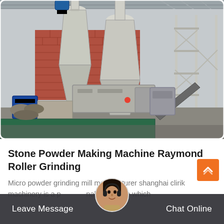[Figure (photo): Industrial grinding/milling machine inside a factory shed – large metallic Raymond Roller Grinding machine with cyclone separators and conveyor equipment, set on a green base, with brick walls and metal roof structure visible in the background.]
Stone Powder Making Machine Raymond Roller Grinding
Micro powder grinding mill manufacturer shanghai clirik machinery is a professional enterprise which research manufactur
Leave Message   Chat Online